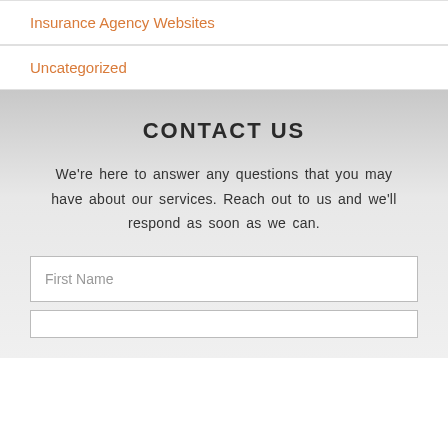Insurance Agency Websites
Uncategorized
CONTACT US
We're here to answer any questions that you may have about our services. Reach out to us and we'll respond as soon as we can.